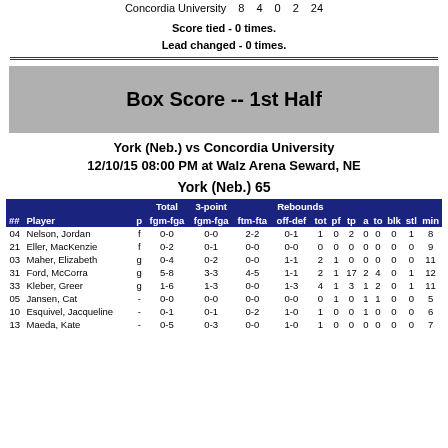|  |  |  |  |  |  |  |
| --- | --- | --- | --- | --- | --- | --- |
| Concordia University | 8 | 4 | 0 | 2 | 24 |
Score tied - 0 times.
Lead changed - 0 times.
Box Score -- 1st Half
York (Neb.) vs Concordia University
12/10/15 08:00 PM at Walz Arena Seward, NE
York (Neb.) 65
| ## | Player | p | Total fgm-fga | 3-point fgm-fga | ftm-fta | Rebounds off-def | tot | pf | tp | a | to | blk | stl | min |
| --- | --- | --- | --- | --- | --- | --- | --- | --- | --- | --- | --- | --- | --- | --- |
| 04 | Nelson, Jordan | f | 0-0 | 0-0 | 2-2 | 0-1 | 1 | 0 | 2 | 0 | 0 | 0 | 1 | 8 |
| 21 | Eller, MacKenzie | f | 0-2 | 0-1 | 0-0 | 0-0 | 0 | 0 | 0 | 0 | 0 | 0 | 0 | 9 |
| 03 | Maher, Elizabeth | g | 0-4 | 0-2 | 0-0 | 1-1 | 2 | 1 | 0 | 0 | 0 | 0 | 0 | 11 |
| 31 | Ford, McCorra | g | 5-8 | 3-3 | 4-5 | 1-1 | 2 | 1 | 17 | 2 | 4 | 0 | 1 | 12 |
| 33 | Kleber, Greer | g | 1-6 | 1-3 | 0-0 | 1-3 | 4 | 1 | 3 | 1 | 2 | 0 | 1 | 11 |
| 05 | Jansen, Cat | - | 0-0 | 0-0 | 0-0 | 0-0 | 0 | 1 | 0 | 1 | 1 | 0 | 0 | 5 |
| 10 | Esquivel, Jacqueline | - | 0-1 | 0-1 | 0-2 | 1-0 | 1 | 0 | 0 | 1 | 0 | 0 | 0 | 6 |
| 13 | Maeda, Kate | - | 0-5 | 0-3 | 0-0 | 1-0 | 1 | 0 | 0 | 0 | 0 | 0 | 0 | 7 |